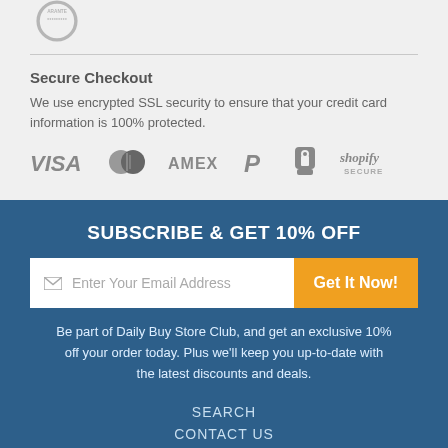[Figure (logo): Partial circular guarantee badge/seal in grey]
Secure Checkout
We use encrypted SSL security to ensure that your credit card information is 100% protected.
[Figure (logo): Payment method logos: VISA, Mastercard, AMEX, PayPal, lock icon, Shopify Secure]
SUBSCRIBE & GET 10% OFF
Enter Your Email Address
Get It Now!
Be part of Daily Buy Store Club, and get an exclusive 10% off your order today. Plus we'll keep you up-to-date with the latest discounts and deals.
SEARCH
CONTACT US
SHIPPING INFORMATION